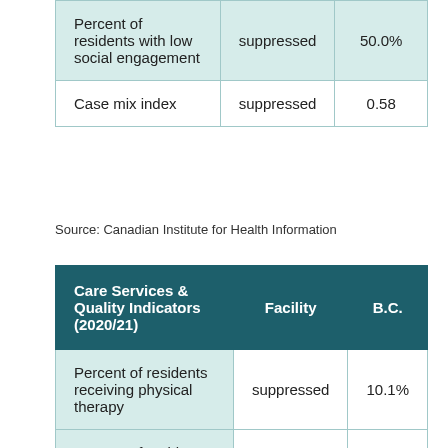| Percent of residents with low social engagement | suppressed | 50.0% |
| Case mix index | suppressed | 0.58 |
Source: Canadian Institute for Health Information
| Care Services & Quality Indicators (2020/21) | Facility | B.C. |
| --- | --- | --- |
| Percent of residents receiving physical therapy | suppressed | 10.1% |
| Percent of residents receiving | suppressed | 28.4% |